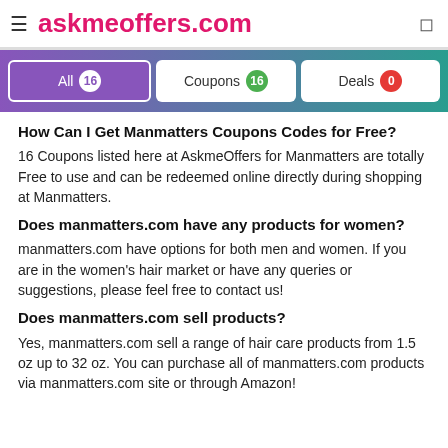≡ askmeoffers.com
All 16  Coupons 16  Deals 0
How Can I Get Manmatters Coupons Codes for Free?
16 Coupons listed here at AskmeOffers for Manmatters are totally Free to use and can be redeemed online directly during shopping at Manmatters.
Does manmatters.com have any products for women?
manmatters.com have options for both men and women. If you are in the women's hair market or have any queries or suggestions, please feel free to contact us!
Does manmatters.com sell products?
Yes, manmatters.com sell a range of hair care products from 1.5 oz up to 32 oz. You can purchase all of manmatters.com products via manmatters.com site or through Amazon!